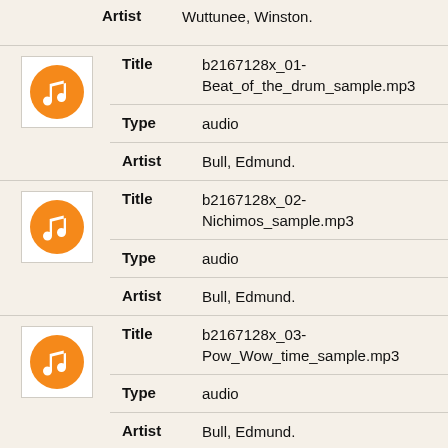Artist: Wuttunee, Winston.
| Field | Value |
| --- | --- |
| Title | b2167128x_01-Beat_of_the_drum_sample.mp3 |
| Type | audio |
| Artist | Bull, Edmund. |
| Field | Value |
| --- | --- |
| Title | b2167128x_02-Nichimos_sample.mp3 |
| Type | audio |
| Artist | Bull, Edmund. |
| Field | Value |
| --- | --- |
| Title | b2167128x_03-Pow_Wow_time_sample.mp3 |
| Type | audio |
| Artist | Bull, Edmund. |